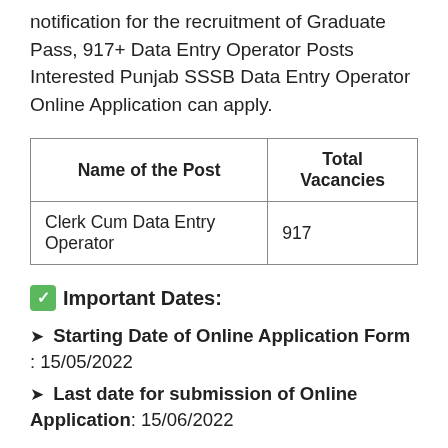notification for the recruitment of Graduate Pass, 917+ Data Entry Operator Posts Interested Punjab SSSB Data Entry Operator Online Application can apply.
| Name of the Post | Total Vacancies |
| --- | --- |
| Clerk Cum Data Entry Operator | 917 |
✅ Important Dates:
➤ Starting Date of Online Application Form : 15/05/2022
➤ Last date for submission of Online Application: 15/06/2022